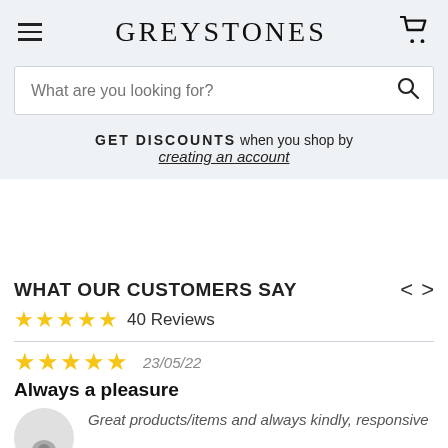GREYSTONES
What are you looking for?
GET DISCOUNTS when you shop by creating an account
WHAT OUR CUSTOMERS SAY
★★★★★ 40 Reviews
★★★★★ 23/05/22
Always a pleasure
Great products/items and always kindly, responsive